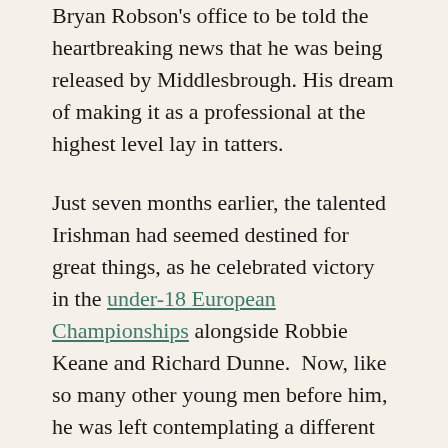Bryan Robson's office to be told the heartbreaking news that he was being released by Middlesbrough. His dream of making it as a professional at the highest level lay in tatters.
Just seven months earlier, the talented Irishman had seemed destined for great things, as he celebrated victory in the under-18 European Championships alongside Robbie Keane and Richard Dunne. Now, like so many other young men before him, he was left contemplating a different type of career in England's lower reaches.
Then, fate, with just a little help from O'Brien's agent, intervened as he received news of interest from the most unlikely of sources. Juventus manager Carlo Ancelotti had seen a video of winger O'Brien in action and was sufficiently impressed to offer O'Brien a five-year contract in Turin. The dream was